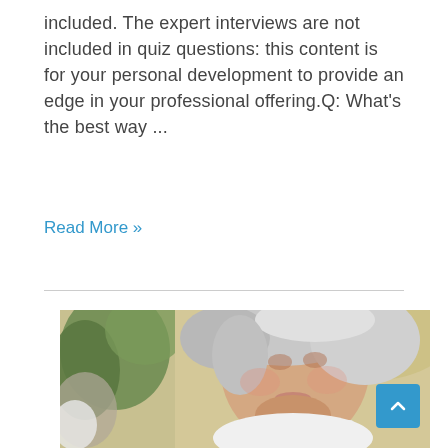included. The expert interviews are not included in quiz questions: this content is for your personal development to provide an edge in your professional offering.Q: What's the best way ...
Read More »
[Figure (photo): Portrait photo of an older woman with short grey hair, looking upward and smiling slightly, wearing a white top, with green foliage in the background]